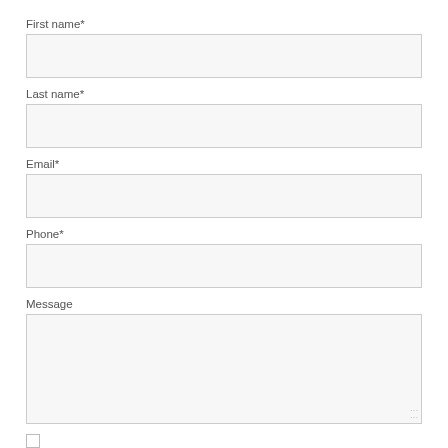First name*
[Figure (other): Empty text input field for First name]
Last name*
[Figure (other): Empty text input field for Last name]
Email*
[Figure (other): Empty text input field for Email]
Phone*
[Figure (other): Empty text input field for Phone]
Message
[Figure (other): Empty textarea input field for Message with resize handle]
[Figure (other): Checkbox (unchecked) at bottom of form]